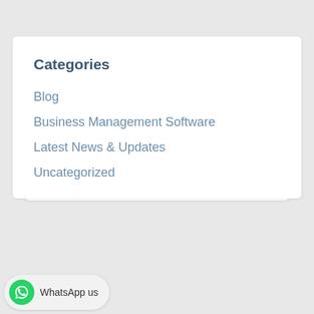Categories
Blog
Business Management Software
Latest News & Updates
Uncategorized
Tags
Accounting Accounting Policy Accounting Software accounting software modules AML compliance in UAE AML compliance is inevitable in
WhatsApp us